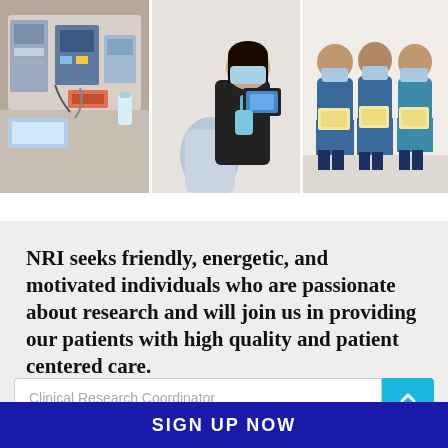[Figure (photo): Three side-by-side photos: left shows medical laboratory equipment and supplies on a counter; center shows a healthcare worker in a mask administering a procedure to a patient using a device; right shows three healthcare workers in scrubs and masks holding certificates.]
NRI seeks friendly, energetic, and motivated individuals who are passionate about research and will join us in providing our patients with high quality and patient centered care.
Clinical Research Coordinator
SIGN UP NOW